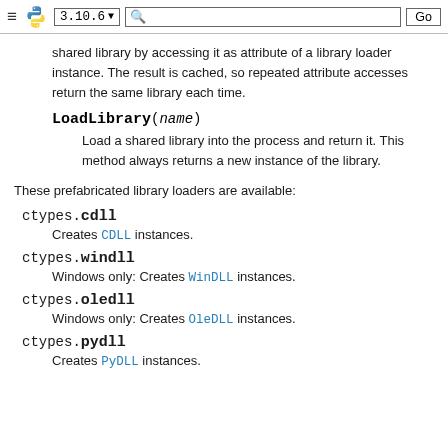≡ 🐍 3.10.6 ▼ [search] Go
shared library by accessing it as attribute of a library loader instance. The result is cached, so repeated attribute accesses return the same library each time.
LoadLibrary(name)
Load a shared library into the process and return it. This method always returns a new instance of the library.
These prefabricated library loaders are available:
ctypes.cdll
Creates CDLL instances.
ctypes.windll
Windows only: Creates WinDLL instances.
ctypes.oledll
Windows only: Creates OleDLL instances.
ctypes.pydll
Creates PyDLL instances.